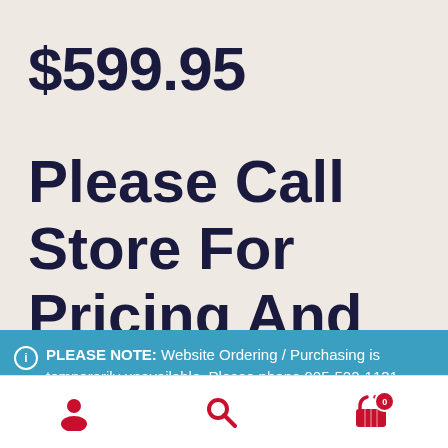$599.95
Please Call Store For Pricing And
ⓘ PLEASE NOTE: Website Ordering / Purchasing is temporarily unavailable. Please phone 905-522-1131 during store hours and we will be happy to take your order. Dismiss
user icon | search icon | cart icon (0)